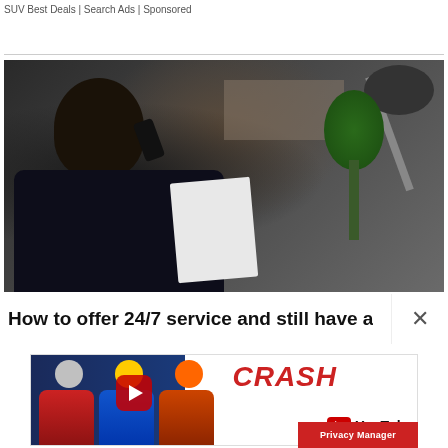SUV Best Deals | Search Ads | Sponsored
[Figure (photo): Man on phone holding paper, sitting at home office desk with lamp and bookshelf in background]
How to offer 24/7 service and still have a
[Figure (photo): Advertisement banner: MotoGP racers with CRASH YouTube branding]
Privacy Manager